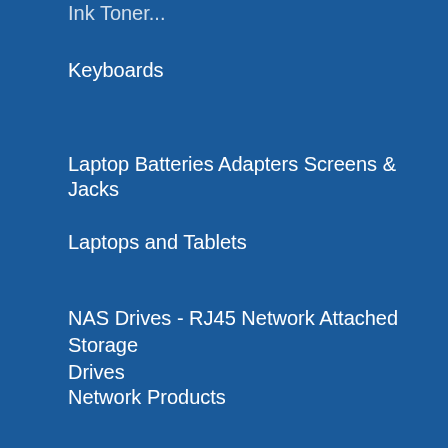Keyboards
Laptop Batteries Adapters Screens & Jacks
Laptops and Tablets
NAS Drives - RJ45 Network Attached Storage Drives
Network Products
Office 365 Email and Office
On Sale!
Paper